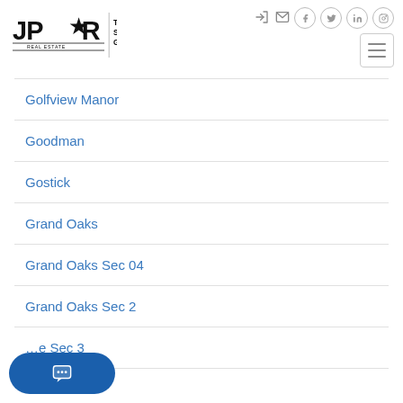JPAR Real Estate — The Sears Group
Golfview Manor
Goodman
Gostick
Grand Oaks
Grand Oaks Sec 04
Grand Oaks Sec 2
…e Sec 3